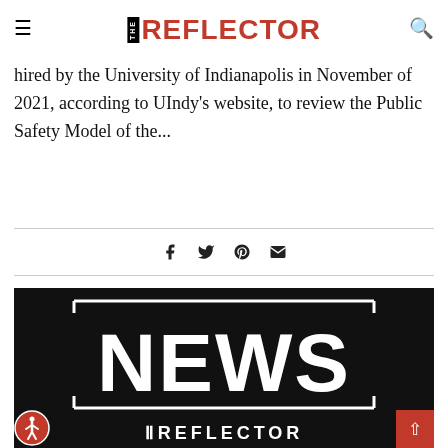THE REFLECTOR
hired by the University of Indianapolis in November of 2021, according to UIndy's website, to review the Public Safety Model of the...
[Figure (screenshot): Social media share icons: Facebook, Twitter, Pinterest, Email]
[Figure (logo): The Reflector NEWS banner on black background with partial REFLECTOR text at bottom]